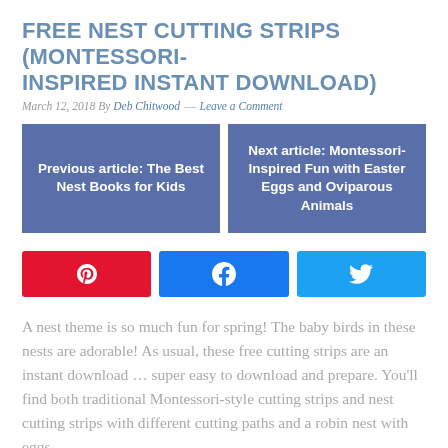FREE NEST CUTTING STRIPS (MONTESSORI-INSPIRED INSTANT DOWNLOAD)
March 12, 2018 By Deb Chitwood — Leave a Comment
Previous article: The Best Nest Books for Kids
Next article: Montessori-Inspired Fun with Easter Eggs and Oviparous Animals
[Figure (other): Social share buttons row: Pinterest (red), Facebook (blue), Twitter (light blue)]
A nest theme is so much fun for spring! The baby birds in these nests are adorable! As usual, these free cutting strips are an instant download … super easy to download and prepare. You'll find both traditional Montessori-style cutting strips and nest cutting strips with different cutting paths and a robin nest with eggs